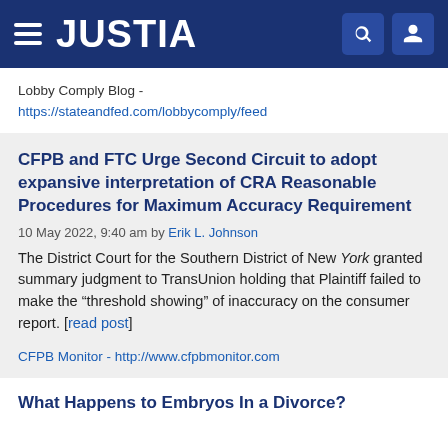JUSTIA
Lobby Comply Blog - https://stateandfed.com/lobbycomply/feed
CFPB and FTC Urge Second Circuit to adopt expansive interpretation of CRA Reasonable Procedures for Maximum Accuracy Requirement
10 May 2022, 9:40 am by Erik L. Johnson
The District Court for the Southern District of New York granted summary judgment to TransUnion holding that Plaintiff failed to make the "threshold showing" of inaccuracy on the consumer report. [read post]
CFPB Monitor - http://www.cfpbmonitor.com
What Happens to Embryos In a Divorce?